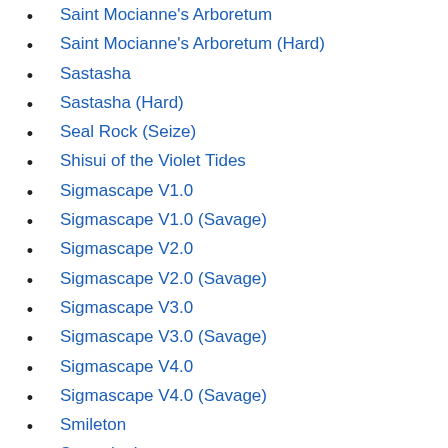Saint Mocianne's Arboretum
Saint Mocianne's Arboretum (Hard)
Sastasha
Sastasha (Hard)
Seal Rock (Seize)
Shisui of the Violet Tides
Sigmascape V1.0
Sigmascape V1.0 (Savage)
Sigmascape V2.0
Sigmascape V2.0 (Savage)
Sigmascape V3.0
Sigmascape V3.0 (Savage)
Sigmascape V4.0
Sigmascape V4.0 (Savage)
Smileton
Snowcloak
Sohm Al
Sohm Al (Hard)
Sohr Khai
Syrcus Tower
T
The Aery
The Antitower and Research Facility